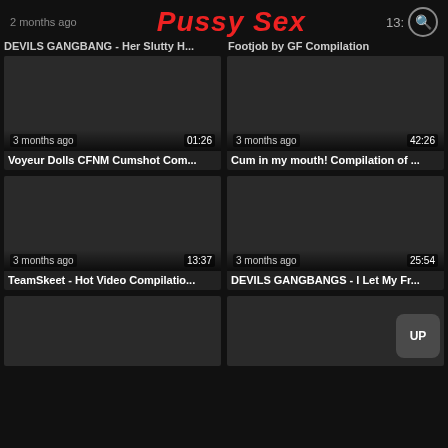2 months ago | Pussy Sex | 13:
DEVILS GANGBANG - Her Slutty H... | Footjob by GF Compilation
[Figure (screenshot): Video thumbnail dark, 3 months ago, 01:26]
Voyeur Dolls CFNM Cumshot Com...
[Figure (screenshot): Video thumbnail dark, 3 months ago, 42:26]
Cum in my mouth! Compilation of ...
[Figure (screenshot): Video thumbnail dark, 3 months ago, 13:37]
TeamSkeet - Hot Video Compilatio...
[Figure (screenshot): Video thumbnail dark, 3 months ago, 25:54]
DEVILS GANGBANGS - I Let My Fr...
[Figure (screenshot): Partial video thumbnail dark, bottom row left]
[Figure (screenshot): Partial video thumbnail dark, bottom row right]